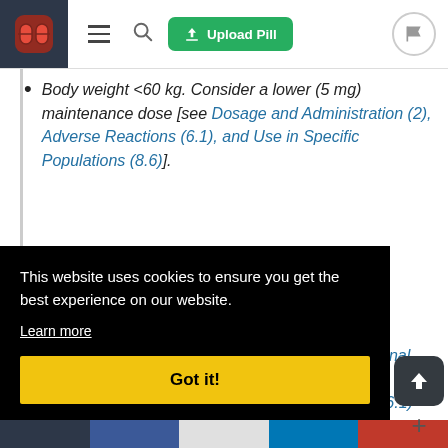Upload Pill
Body weight <60 kg. Consider a lower (5 mg) maintenance dose [see Dosage and Administration (2), Adverse Reactions (6.1), and Use in Specific Populations (8.6)].
Propensity to bleed (e.g., recent trauma, recent surgery, recent or recurrent...
...renal ... (6.1)
This website uses cookies to ensure you get the best experience on our website. Learn more
Got it!